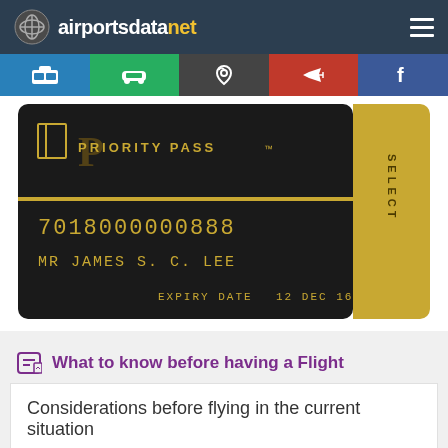airportsdatanet
[Figure (photo): Priority Pass SELECT card showing card number 7018000000888, name MR JAMES S. C. LEE, expiry date 12 DEC 16, dark background with gold accents]
What to know before having a Flight
Considerations before flying in the current situation
Travel insurance